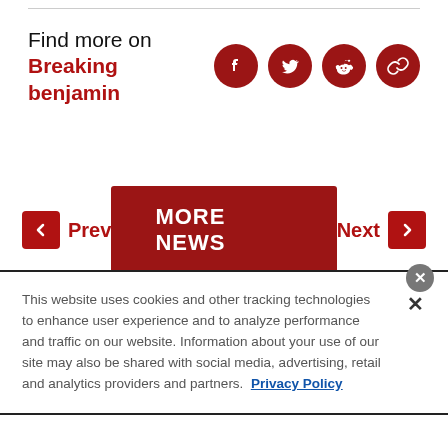Find more on Breaking benjamin
Prev | MORE NEWS | Next
This website uses cookies and other tracking technologies to enhance user experience and to analyze performance and traffic on our website. Information about your use of our site may also be shared with social media, advertising, retail and analytics providers and partners. Privacy Policy